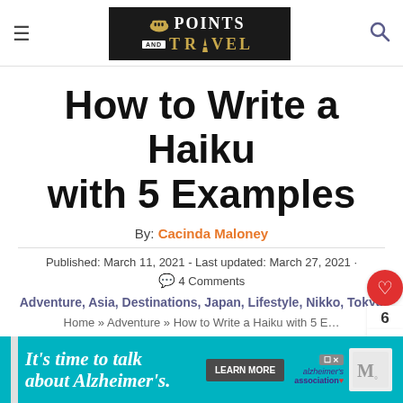Points and Travel — website header with logo, hamburger menu, and search icon
How to Write a Haiku with 5 Examples
By: Cacinda Maloney
Published: March 11, 2021 - Last updated: March 27, 2021 · 4 Comments
Adventure, Asia, Destinations, Japan, Lifestyle, Nikko, Tokyo
Home » Adventure » How to Write a Haiku with 5 E…
[Figure (screenshot): What's Next widget showing thumbnail and text 'How to get an Indian Visa...']
[Figure (screenshot): Advertisement banner: It's time to talk about Alzheimer's. Learn More. Alzheimer's Association logo.]